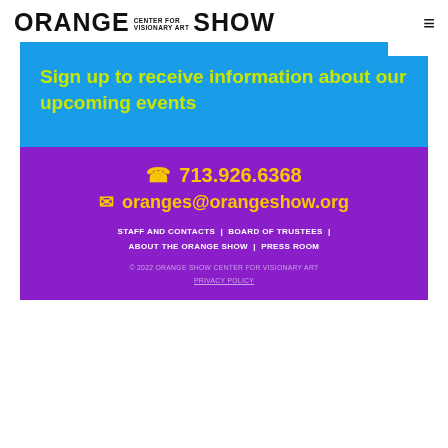ORANGE CENTER FOR VISIONARY ART SHOW
Sign up to receive information about our upcoming events
☎ 713.926.6368
✉ oranges@orangeshow.org
STAFF AND CONTACTS | BOARD OF TRUSTEES | ABOUT THE ORANGE SHOW | PRESS ROOM
© 2022 ORANGE SHOW CENTER FOR VISIONARY ART PRIVACY POLICY